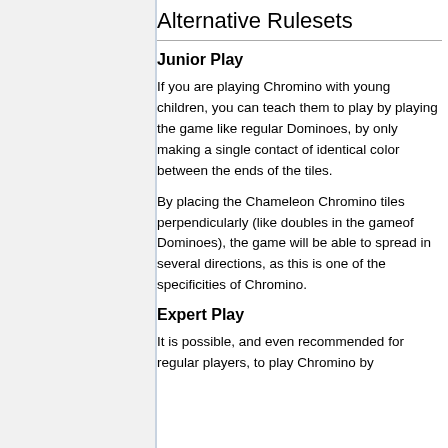Alternative Rulesets
Junior Play
If you are playing Chromino with young children, you can teach them to play by playing the game like regular Dominoes, by only making a single contact of identical color between the ends of the tiles.
By placing the Chameleon Chromino tiles perpendicularly (like doubles in the gameof Dominoes), the game will be able to spread in several directions, as this is one of the specificities of Chromino.
Expert Play
It is possible, and even recommended for regular players, to play Chromino by